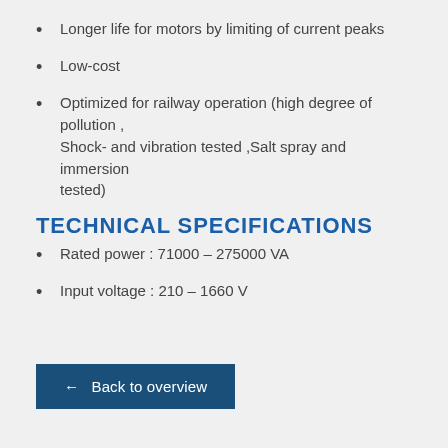Longer life for motors by limiting of current peaks
Low-cost
Optimized for railway operation (high degree of pollution , Shock- and vibration tested ,Salt spray and immersion tested)
TECHNICAL SPECIFICATIONS
Rated power : 71000 – 275000 VA
Input voltage : 210 – 1660 V
← Back to overview